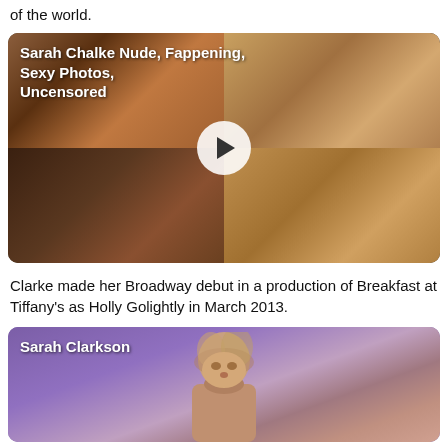of the world.
[Figure (photo): Video thumbnail grid showing Sarah Chalke with play button overlay, dark warm-toned images in 2x2 grid]
Sarah Chalke Nude, Fappening, Sexy Photos, Uncensored
Clarke made her Broadway debut in a production of Breakfast at Tiffany's as Holly Golightly in March 2013.
[Figure (photo): Photo of Sarah Clarkson against purple background, woman with brown hair]
Sarah Clarkson
[Figure (other): Bottom of page showing gray play button on light gray background]